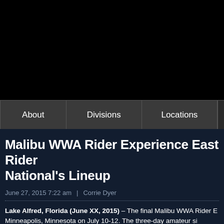[Figure (other): Black header banner area, likely containing a logo or image that is not visible (black rectangle)]
About | Divisions | Locations
Malibu WWA Rider Experience East Rider National's Lineup
June 27, 2015 7:22 am  |  Corrie Dyer
Lake Alfred, Florida (June XX, 2015) – The final Malibu WWA Rider Experience East Rider National's Lineup Minneapolis, Minnesota on July 10-12. The three-day amateur...